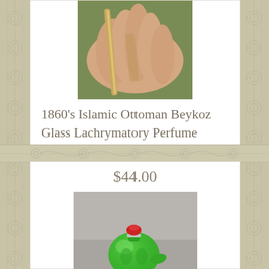[Figure (photo): Photo of a hand holding a thin elongated glass perfume flask/tear bottle with golden/amber color, outdoors with green background]
1860's Islamic Ottoman Beykoz Glass Lachrymatory Perfume Flask Tear Rose Bottle
$44.00
[Figure (photo): Photo of a green glass snuff bottle or small decorative vessel with a red cap/stopper, shaped like a fish or gourd, placed against a gray background]